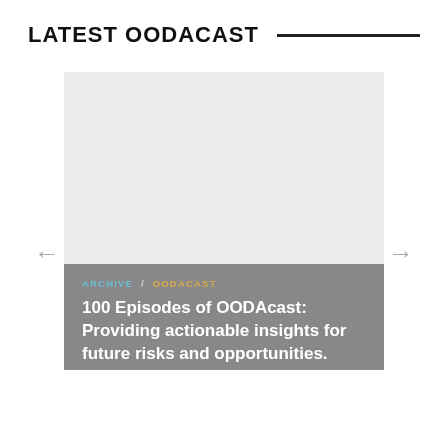LATEST OODACAST
[Figure (screenshot): A podcast card widget with a light gray image placeholder area showing left and right navigation arrows, and a dark gray footer with breadcrumb navigation reading ARCHIVE / OODACAST and the title '100 Episodes of OODAcast: Providing actionable insights for future risks and opportunities.']